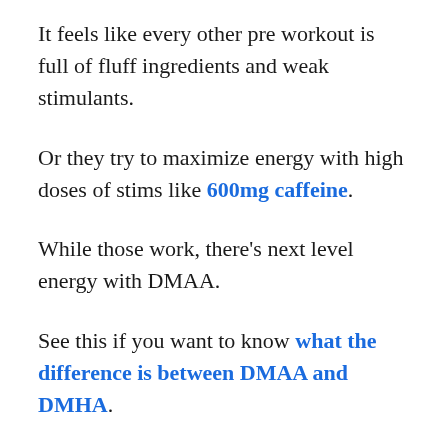It feels like every other pre workout is full of fluff ingredients and weak stimulants.
Or they try to maximize energy with high doses of stims like 600mg caffeine.
While those work, there's next level energy with DMAA.
See this if you want to know what the difference is between DMAA and DMHA.
Below you'll find the best supplements with this exotic stimulant...